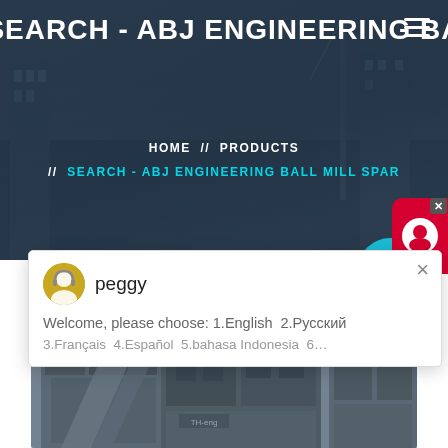SEARCH - ABJ ENGINEERING BA
HOME // PRODUCTS // SEARCH - ABJ ENGINEERING BALL MILL SPAR…
peggy
Welcome, please choose: 1.English  2.Русский
3.Français  4.Español  5.bahasa Indonesia  6…
[Figure (photo): Industrial ball mill / engineering machinery at a processing plant, showing large mechanical equipment structures]
1